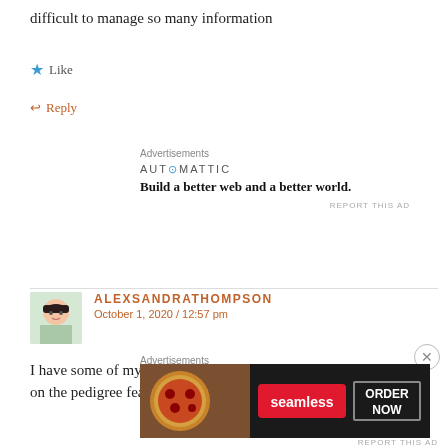difficult to manage so many information
★ Like
↩ Reply
Advertisements
[Figure (logo): AUTOMATTIC logo with tagline: Build a better web and a better world.]
REPORT THIS AD
ALEXSANDRATHOMPSON
October 1, 2020 / 12:57 pm
I have some of my family history on FamilySearch and your help on the pedigree feature was amazing!
Advertisements
[Figure (screenshot): Seamless food delivery advertisement: pizza image on left, seamless red button, ORDER NOW button on dark background]
REPORT THIS AD